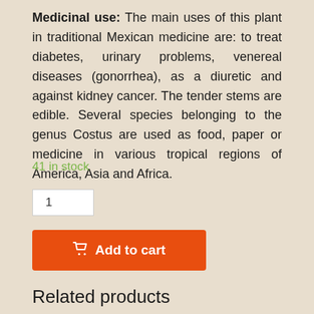Medicinal use: The main uses of this plant in traditional Mexican medicine are: to treat diabetes, urinary problems, venereal diseases (gonorrhea), as a diuretic and against kidney cancer. The tender stems are edible. Several species belonging to the genus Costus are used as food, paper or medicine in various tropical regions of America, Asia and Africa.
41 in stock
1
Add to cart
Related products
[Figure (photo): Photo of plant with long green leaves]
[Figure (photo): Photo of tropical plant with broad leaves]